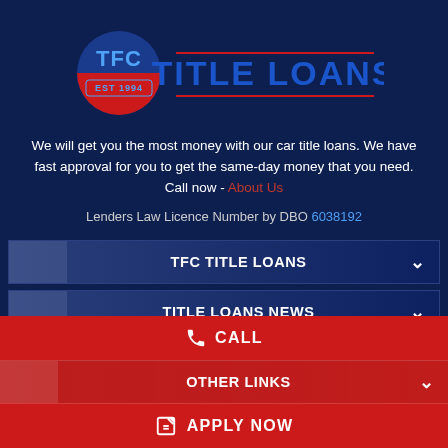[Figure (logo): TFC Title Loans logo: blue circle with TFC text and EST 1994, with 'TITLE LOANS' text in large blue letters and red underline]
We will get you the most money with our car title loans. We have fast approval for you to get the same-day money that you need. Call now - About Us
Lenders Law Licence Number by DBO 6038192
TFC TITLE LOANS
TITLE LOANS NEWS
CALL
OTHER LINKS
APPLY NOW